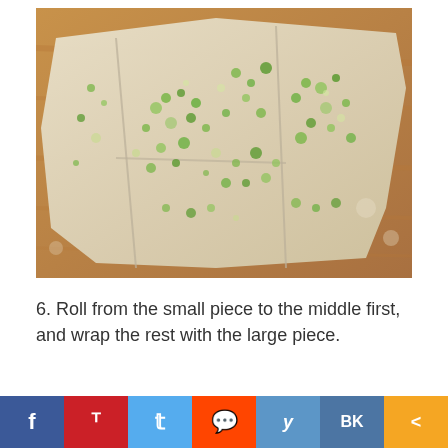[Figure (photo): Flat dough spread on a wooden cutting board, covered with chopped green onions and other green toppings, cut into sections before rolling.]
6. Roll from the small piece to the middle first, and wrap the rest with the large piece.